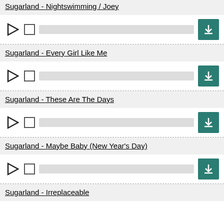Sugarland - Nightswimming / Joey
Sugarland - Every Girl Like Me
Sugarland - These Are The Days
Sugarland - Maybe Baby (New Year's Day)
Sugarland - Irreplaceable